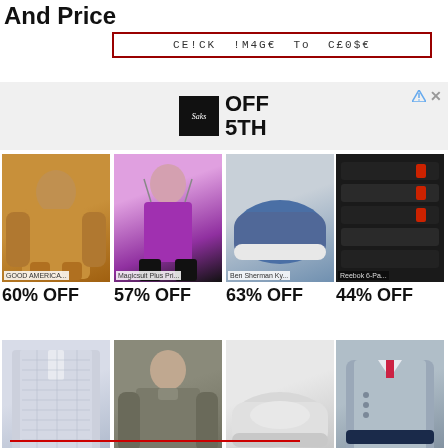And Price
CE!CK !M4GE To C£0$E
[Figure (logo): Saks OFF 5TH advertisement banner]
[Figure (photo): GOOD AMERICA... bodysuit product image - 60% OFF]
[Figure (photo): Magicsuit Plus Pri... swimsuit product image - 57% OFF]
[Figure (photo): Ben Sherman Ky... shoe product image - 63% OFF]
[Figure (photo): Reebok 6-Pa... socks product image - 44% OFF]
[Figure (photo): Eton Slim-Fit Pai... dress shirt product image - 75% OFF]
[Figure (photo): Beach Lunch Lo... top product image - 82% OFF]
[Figure (photo): Johnston & Murp... shoe product image - 32% OFF]
[Figure (photo): Levinas Con... shirt product image - 66% OFF]